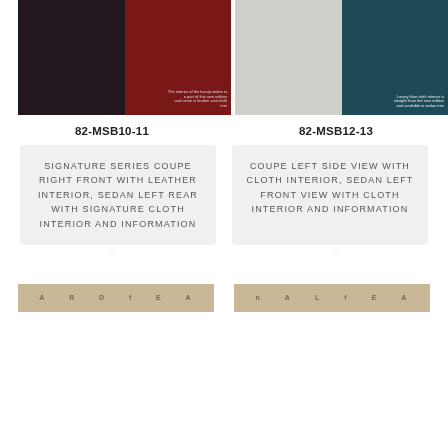[Figure (photo): Two-panel photo showing Signature Series Coupe right front with leather interior (dark left panel) and sedan left rear with signature cloth interior (red right panel) — catalog image 82-MSB10-11]
[Figure (photo): Two-panel photo showing coupe left side view with cloth interior (light gray/white left panel) and sedan left front view with cloth interior in teal (right panel) — catalog image 82-MSB12-13]
82-MSB10-11
82-MSB12-13
SIGNATURE SERIES COUPE RIGHT FRONT WITH LEATHER INTERIOR, SEDAN LEFT REAR WITH SIGNATURE CLOTH INTERIOR AND INFORMATION
COUPE LEFT SIDE VIEW WITH CLOTH INTERIOR, SEDAN LEFT FRONT VIEW WITH CLOTH INTERIOR AND INFORMATION
[Figure (photo): Partial view of bottom catalog strip with letters A R D F E A]
[Figure (photo): Partial view of bottom catalog strip with letters n A L f E A]